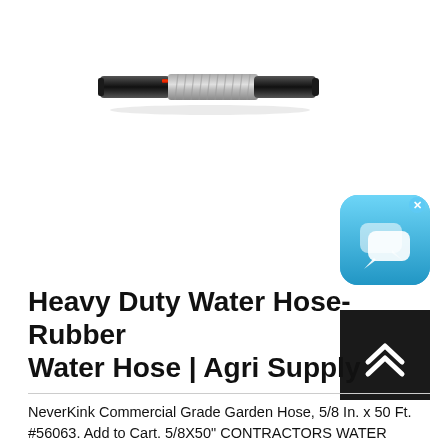[Figure (photo): A heavy duty rubber water hose, cylindrical shape with dark grey/black exterior and silver braided middle section, shown horizontally.]
[Figure (other): A teal/blue rounded square chat/messaging app icon with two overlapping speech bubbles in white, with an 'x' close button in the top right corner.]
[Figure (other): A dark/black square button with a white double chevron (up arrow) icon, used as a scroll-to-top button.]
Heavy Duty Water Hose-Rubber Water Hose | Agri Supply
NeverKink Commercial Grade Garden Hose, 5/8 In. x 50 Ft. #56063. Add to Cart. 5/8X50" CONTRACTORS WATER HOSE 27528 Other. Professional Duty Garden Hose, 5/8 In. x 50 Ft. #27528. Add to Cart. 5/8" X 50" HD GARDEN HOSE 28482A Other. NeverKink Heavy Duty Garden Hose, 5/8 In. x ...